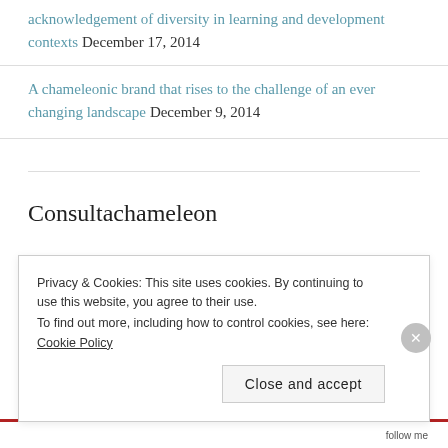acknowledgement of diversity in learning and development contexts December 17, 2014
A chameleonic brand that rises to the challenge of an ever changing landscape December 9, 2014
Consultachameleon
Privacy & Cookies: This site uses cookies. By continuing to use this website, you agree to their use.
To find out more, including how to control cookies, see here: Cookie Policy
Close and accept